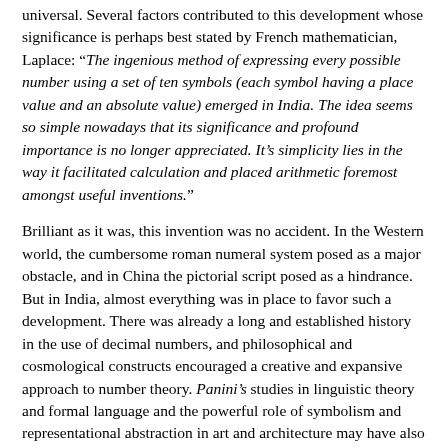universal. Several factors contributed to this development whose significance is perhaps best stated by French mathematician, Laplace: "The ingenious method of expressing every possible number using a set of ten symbols (each symbol having a place value and an absolute value) emerged in India. The idea seems so simple nowadays that its significance and profound importance is no longer appreciated. It's simplicity lies in the way it facilitated calculation and placed arithmetic foremost amongst useful inventions."
Brilliant as it was, this invention was no accident. In the Western world, the cumbersome roman numeral system posed as a major obstacle, and in China the pictorial script posed as a hindrance. But in India, almost everything was in place to favor such a development. There was already a long and established history in the use of decimal numbers, and philosophical and cosmological constructs encouraged a creative and expansive approach to number theory. Panini's studies in linguistic theory and formal language and the powerful role of symbolism and representational abstraction in art and architecture may have also provided an impetus, as might have the rationalist doctrines and the exacting epistemology of the Nyaya Sutras, and the innovative abstractions of the Syadavada and Buddhist schools of learning.